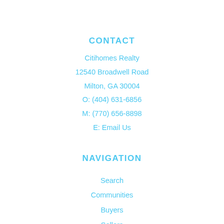CONTACT
Citihomes Realty
12540 Broadwell Road
Milton, GA 30004
O: (404) 631-6856
M: (770) 656-8898
E: Email Us
NAVIGATION
Search
Communities
Buyers
Sellers
About